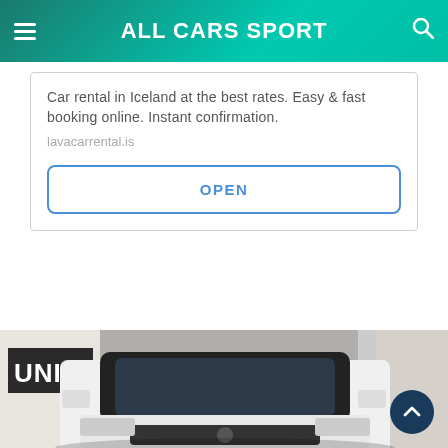ALL CARS SPORT
Car rental in Iceland at the best rates. Easy & fast booking online. Instant confirmation.
lavacarrental.is
OPEN
[Figure (photo): Front view of a white SUV/car parked near a building with 'UNI' signage visible, outdoor urban setting]